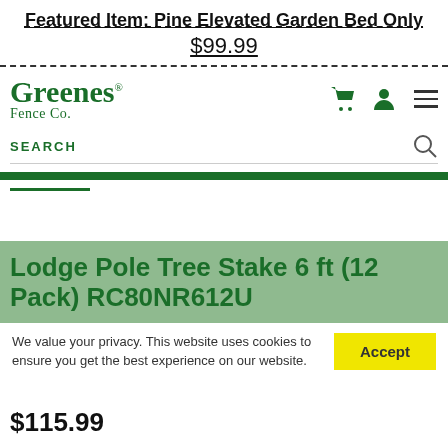Featured Item: Pine Elevated Garden Bed Only
$99.99
[Figure (logo): Greenes Fence Co. logo in dark green]
SEARCH
Lodge Pole Tree Stake 6 ft (12 Pack) RC80NR612U
We value your privacy. This website uses cookies to ensure you get the best experience on our website.
$115.99